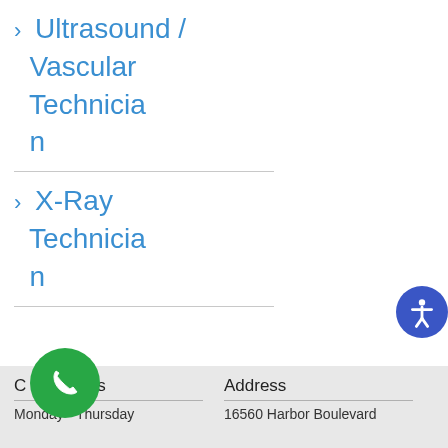> Ultrasound / Vascular Technician
> X-Ray Technician
Clinic Hours | Address | Monday - Thursday | 16560 Harbor Boulevard